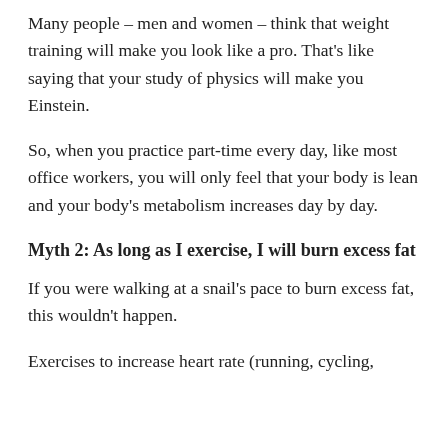Many people – men and women – think that weight training will make you look like a pro. That's like saying that your study of physics will make you Einstein.
So, when you practice part-time every day, like most office workers, you will only feel that your body is lean and your body's metabolism increases day by day.
Myth 2: As long as I exercise, I will burn excess fat
If you were walking at a snail's pace to burn excess fat, this wouldn't happen.
Exercises to increase heart rate (running, cycling, swimming, etc.) should be performed about 40...